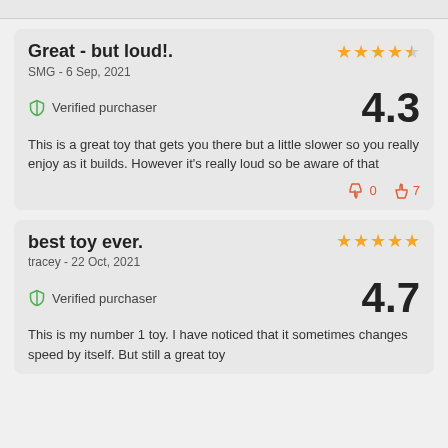Great - but loud!. | SMG - 6 Sep, 2021 | Verified purchaser | 4.3 | This is a great toy that gets you there but a little slower so you really enjoy as it builds. However it's really loud so be aware of that | 0 dislikes | 7 likes
best toy ever. | tracey - 22 Oct, 2021 | Verified purchaser | 4.7 | This is my number 1 toy. I have noticed that it sometimes changes speed by itself. But still a great toy